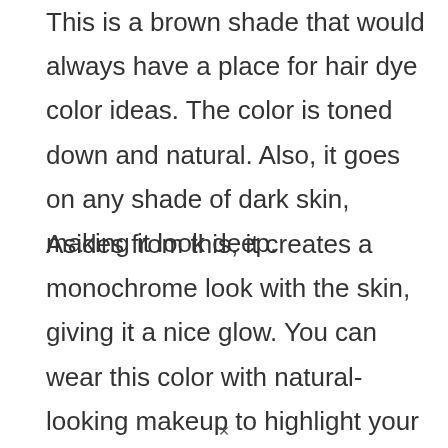This is a brown shade that would always have a place for hair dye color ideas. The color is toned down and natural. Also, it goes on any shade of dark skin, making it look deep.
Asides from this, it creates a monochrome look with the skin, giving it a nice glow. You can wear this color with natural-looking makeup to highlight your facial features, giving you that perfect sweet and sultry look,
×